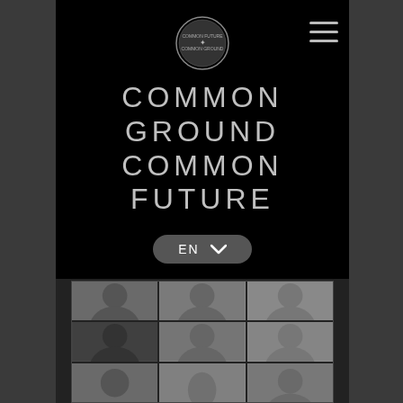[Figure (logo): Common Ground Common Future circular logo/seal in white on black background]
COMMON GROUND COMMON FUTURE
[Figure (other): Language selector button showing EN with dropdown arrow, dark rounded rectangle]
[Figure (photo): 3x3 grid of black and white video call thumbnails showing various people in video conference squares]